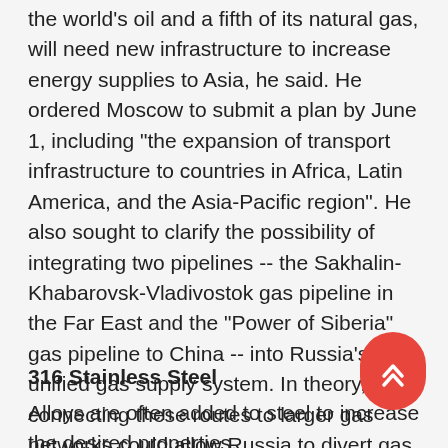energy supplier. Russia, which produces about a tenth of the world's oil and a fifth of its natural gas, will need new infrastructure to increase energy supplies to Asia, he said. He ordered Moscow to submit a plan by June 1, including "the expansion of transport infrastructure to countries in Africa, Latin America, and the Asia-Pacific region". He also sought to clarify the possibility of integrating two pipelines -- the Sakhalin-Khabarovsk-Vladivostok gas pipeline in the Far East and the "Power of Siberia" gas pipeline to China -- into Russia's unified gas supply system. In theory, connecting these routes to larger gas networks could allow Russia to divert gas from Europe to Asia. Because of the ever-changing international situation, the supply and prices of international bulk 316L stainless steel powder are still very uncertain.
316 Stainless Steel
Alloys are often added to steel to increase the desired properties.